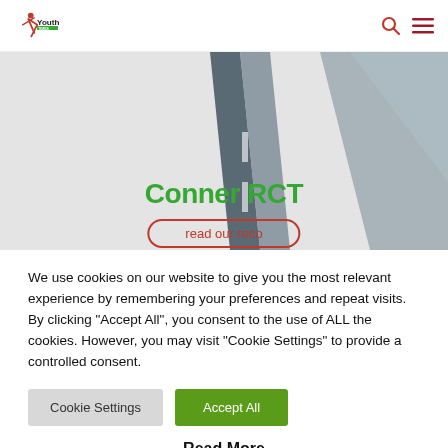Youth Times — logo and navigation icons
[Figure (illustration): Hero banner showing road graphic with geometric triangular shapes in grey. Title 'Conner RCT' in bold green text and a partially visible button with red outline at the bottom.]
We use cookies on our website to give you the most relevant experience by remembering your preferences and repeat visits. By clicking "Accept All", you consent to the use of ALL the cookies. However, you may visit "Cookie Settings" to provide a controlled consent.
Cookie Settings   Accept All
Read More